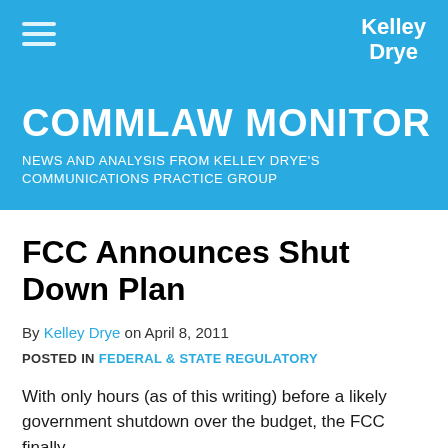COMMLAW MONITOR — NEWS AND ANALYSIS FROM KELLEY DRYE'S COMMUNICATIONS PRACTICE GROUP
FCC Announces Shut Down Plan
By Kelley Drye on April 8, 2011
POSTED IN FEDERAL & STATE REGULATORY
With only hours (as of this writing) before a likely government shutdown over the budget, the FCC finally